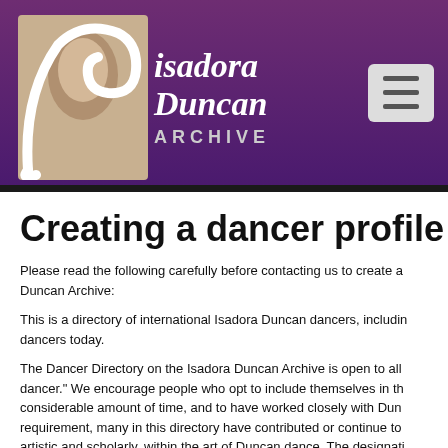Isadora Duncan ARCHIVE
Creating a dancer profile
Please read the following carefully before contacting us to create a profile on the Isadora Duncan Archive:
This is a directory of international Isadora Duncan dancers, including dancers today.
The Dancer Directory on the Isadora Duncan Archive is open to all who consider themselves an "Isadora Duncan dancer." We encourage people who opt to include themselves in the directory to have studied Duncan dance for a considerable amount of time, and to have worked closely with Duncan-trained teachers. Though not a strict requirement, many in this directory have contributed or continue to contribute to the practice of Duncan dance, artistic and scholarly, within the art of Duncan dance. The designation "Isadora Duncan dancer" is an inherently personal one, rooted in the sense of one's own dance practice and
Living Contributors